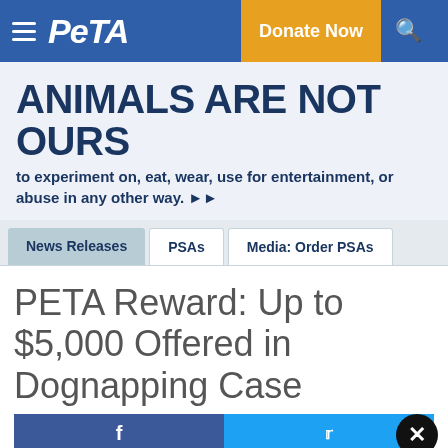PETA — Donate Now
ANIMALS ARE NOT OURS to experiment on, eat, wear, use for entertainment, or abuse in any other way. ▶▶
News Releases | PSAs | Media: Order PSAs
PETA Reward: Up to $5,000 Offered in Dognapping Case
Text ROCKY to 73822 to urge officials to allow Rocky a lone coyote, who is pacing in apparent distress in a tiny cage, to move to an accredited sanctuary.